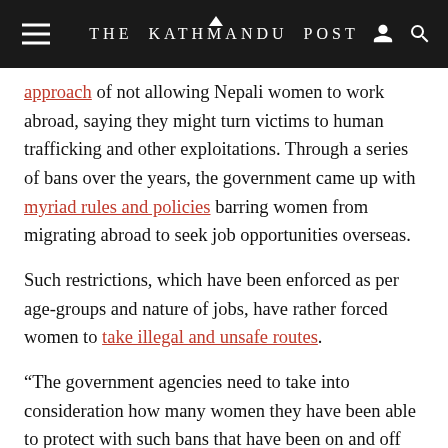THE KATHMANDU POST
approach of not allowing Nepali women to work abroad, saying they might turn victims to human trafficking and other exploitations. Through a series of bans over the years, the government came up with myriad rules and policies barring women from migrating abroad to seek job opportunities overseas.
Such restrictions, which have been enforced as per age-groups and nature of jobs, have rather forced women to take illegal and unsafe routes.
“The government agencies need to take into consideration how many women they have been able to protect with such bans that have been on and off for the last 20 years,” said Shrestha, who is also the executive board member of Nepal Policy Institute, a think tank. “The state has a responsibility to protect its citizens.”